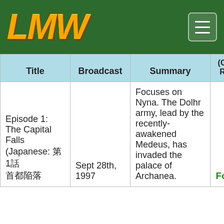LMW
| Title | Broadcast | Summary | (Game ROM) | Forma ROM) |
| --- | --- | --- | --- | --- |
| Episode 1: The Capital Falls (Japanese: 第1話 首都陥落) | Sept 28th, 1997 | Focuses on Nyna. The Dolhr army, lead by the recently-awakened Medeus, has invaded the palace of Archanea. | Found | Lost |